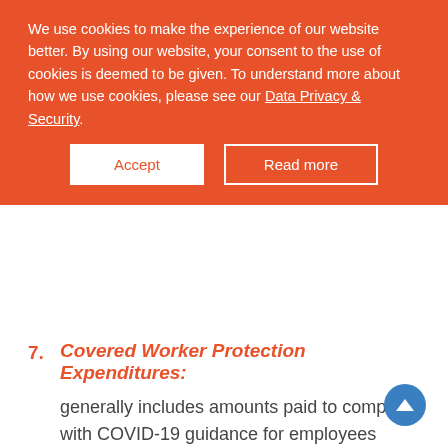We use cookies to make the experience of our website better. By using our website, your consent to the use of cookies is deemed to be given. To understand more about how we use cookies, please see our Data Privacy & Security.
Accept | Read more
7. Covered Worker Protection Expenditures: generally includes amounts paid to comply with COVID-19 guidance for employees working remotely.
In addition to adding these four types of new forgivable expenses, Congress also amended the definition of "payroll costs" to more clearly include group life, disability, vision or dental insurance. We previously advised clients that they could include vision and dental insurance as part of health care benefits. The inclusion of group life and disability